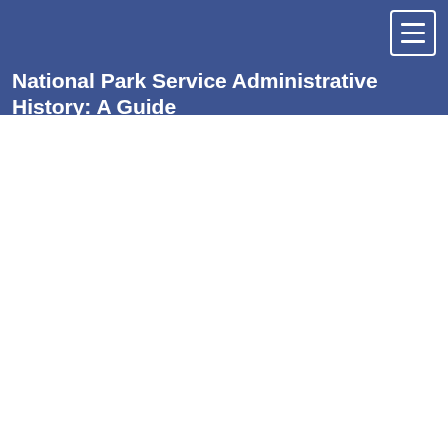National Park Service Administrative History: A Guide